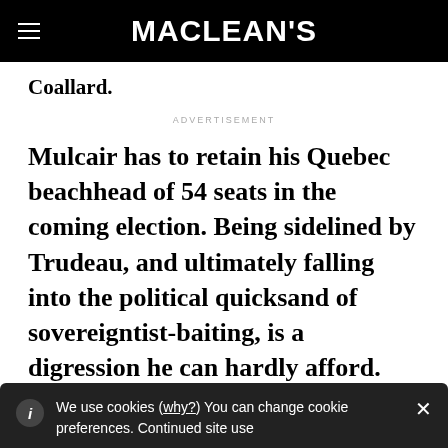MACLEAN'S
Coallard.
ADVERTISEMENT
Mulcair has to retain his Quebec beachhead of 54 seats in the coming election. Being sidelined by Trudeau, and ultimately falling into the political quicksand of sovereigntist-baiting, is a digression he can hardly afford.
We use cookies (why?) You can change cookie preferences. Continued site use